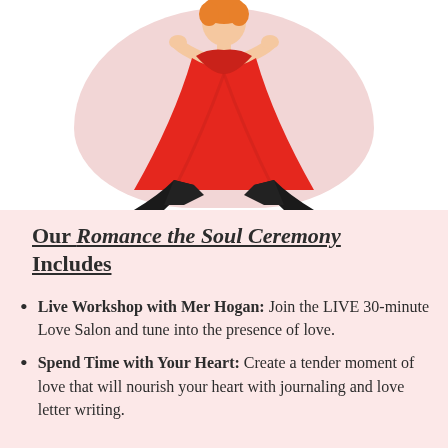[Figure (photo): Woman in red flowing dress and black leggings in a wide stance pose with hands crossed at chest, against a pink blob/circle background shape]
Our Romance the Soul Ceremony Includes
Live Workshop with Mer Hogan: Join the LIVE 30-minute Love Salon and tune into the presence of love.
Spend Time with Your Heart: Create a tender moment of love that will nourish your heart with journaling and love letter writing.